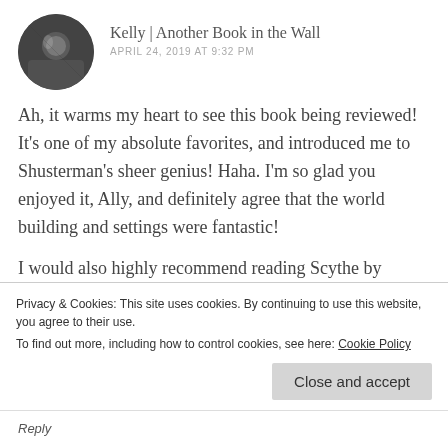Kelly | Another Book in the Wall
APRIL 24, 2019 AT 9:32 PM
Ah, it warms my heart to see this book being reviewed! It's one of my absolute favorites, and introduced me to Shusterman's sheer genius! Haha. I'm so glad you enjoyed it, Ally, and definitely agree that the world building and settings were fantastic!
I would also highly recommend reading Scythe by
Privacy & Cookies: This site uses cookies. By continuing to use this website, you agree to their use.
To find out more, including how to control cookies, see here: Cookie Policy
Close and accept
Reply